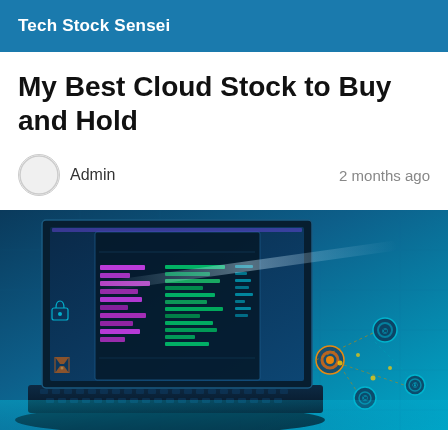Tech Stock Sensei
My Best Cloud Stock to Buy and Hold
Admin   2 months ago
[Figure (illustration): Digital technology illustration showing a laptop with holographic data visualization, colorful code bars (pink, green, cyan) floating in 3D, connected nodes with glowing orange and cyan circle icons on a deep blue gradient background suggesting cloud computing and fintech themes.]